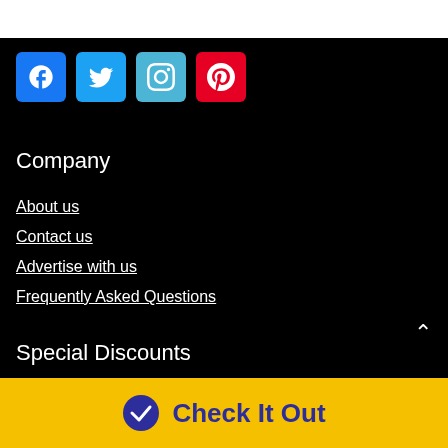[Figure (other): Social media icons: Facebook (blue), Twitter (light blue), Instagram (cyan-blue), Pinterest (red)]
Company
About us
Contact us
Advertise with us
Frequently Asked Questions
Special Discounts
Check It Out